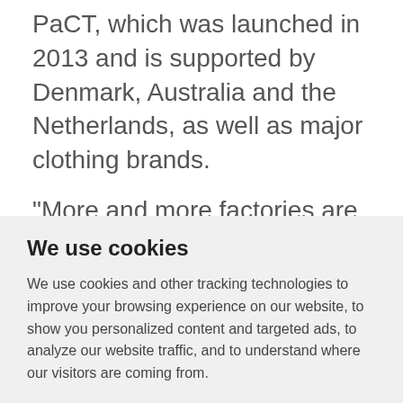PaCT, which was launched in 2013 and is supported by Denmark, Australia and the Netherlands, as well as major clothing brands.
"More and more factories are nominating themselves for the programme, because they know they must go green to remain
We use cookies
We use cookies and other tracking technologies to improve your browsing experience on our website, to show you personalized content and targeted ads, to analyze our website traffic, and to understand where our visitors are coming from.